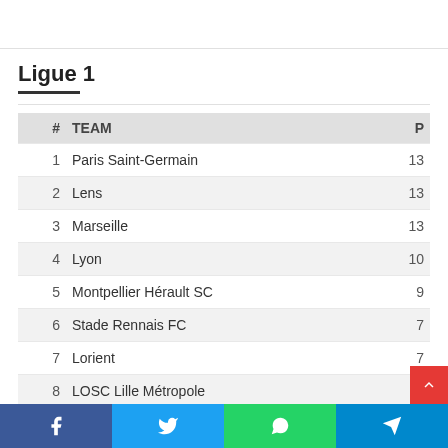Ligue 1
| # | TEAM | P |
| --- | --- | --- |
| 1 | Paris Saint-Germain | 13 |
| 2 | Lens | 13 |
| 3 | Marseille | 13 |
| 4 | Lyon | 10 |
| 5 | Montpellier Hérault SC | 9 |
| 6 | Stade Rennais FC | 7 |
| 7 | Lorient | 7 |
| 8 | LOSC Lille Métropole | 7 |
| 9 | Auxerre | 7 |
| 10 | Nantes | 6 |
| 11 | ESTAC | 6 |
Facebook Twitter WhatsApp Telegram